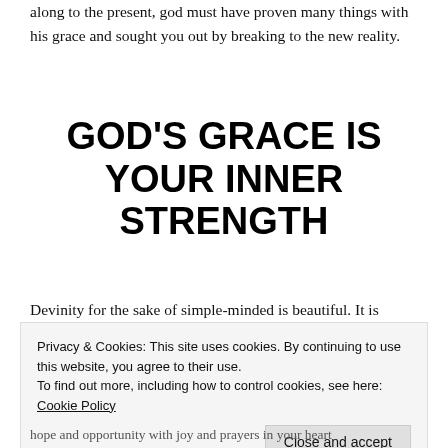along to the present, god must have proven many things with his grace and sought you out by breaking to the new reality.
GOD'S GRACE IS YOUR INNER STRENGTH
Devinity for the sake of simple-minded is beautiful. It is
Privacy & Cookies: This site uses cookies. By continuing to use this website, you agree to their use.
To find out more, including how to control cookies, see here: Cookie Policy
hope and opportunity with joy and prayers in your heart